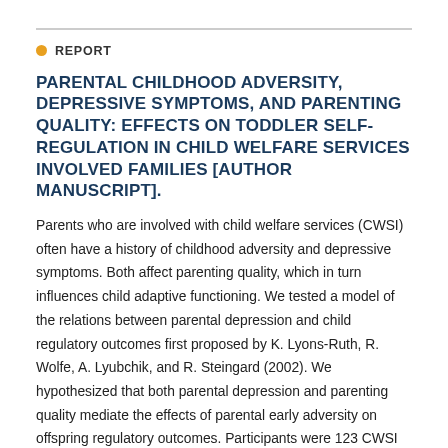REPORT
PARENTAL CHILDHOOD ADVERSITY, DEPRESSIVE SYMPTOMS, AND PARENTING QUALITY: EFFECTS ON TODDLER SELF-REGULATION IN CHILD WELFARE SERVICES INVOLVED FAMILIES [AUTHOR MANUSCRIPT].
Parents who are involved with child welfare services (CWSI) often have a history of childhood adversity and depressive symptoms. Both affect parenting quality, which in turn influences child adaptive functioning. We tested a model of the relations between parental depression and child regulatory outcomes first proposed by K. Lyons-Ruth, R. Wolfe, A. Lyubchik, and R. Steingard (2002). We hypothesized that both parental depression and parenting quality mediate the effects of parental early adversity on offspring regulatory outcomes. Participants were 123 CWSI parents and their toddlers assessed…